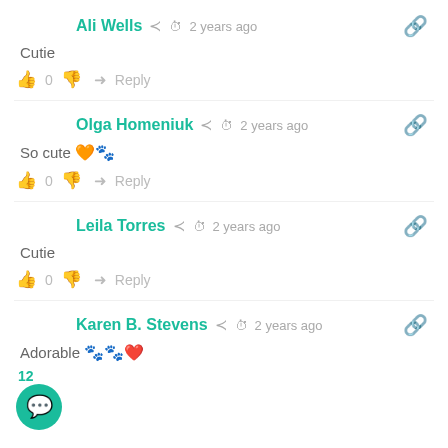Ali Wells · share · clock · 2 years ago · link
Cutie
👍 0 👎 → Reply
Olga Homeniuk · share · clock · 2 years ago · link
So cute 🧡🐾
👍 0 👎 → Reply
Leila Torres · share · clock · 2 years ago · link
Cutie
👍 0 👎 → Reply
Karen B. Stevens · share · clock · 2 years ago · link
Adorable 🐾🐾❤️